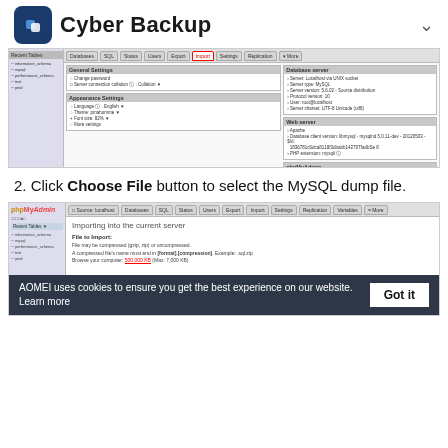[Figure (logo): Cyber Backup logo with dark blue rounded square icon and brand name]
[Figure (screenshot): phpMyAdmin interface showing General Settings and Appearance Settings panels with Import tab highlighted in red dashed border]
2. Click Choose File button to select the MySQL dump file.
[Figure (screenshot): phpMyAdmin Import page showing 'Importing into the current server' heading and File to Import section]
AOMEI uses cookies to ensure you get the best experience on our website. Learn more  Got it